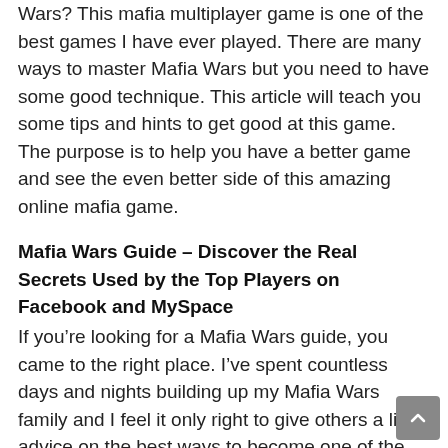Wars? This mafia multiplayer game is one of the best games I have ever played. There are many ways to master Mafia Wars but you need to have some good technique. This article will teach you some tips and hints to get good at this game. The purpose is to help you have a better game and see the even better side of this amazing online mafia game.
Mafia Wars Guide – Discover the Real Secrets Used by the Top Players on Facebook and MySpace
If you're looking for a Mafia Wars guide, you came to the right place. I've spent countless days and nights building up my Mafia Wars family and I feel it only right to give others a little advice on the best ways to become one of the best. Of course some tips are simply common sense, but many others you may never have thought of before. First of all, one of the biggest mistakes people make in Mafia Wars, is to be self